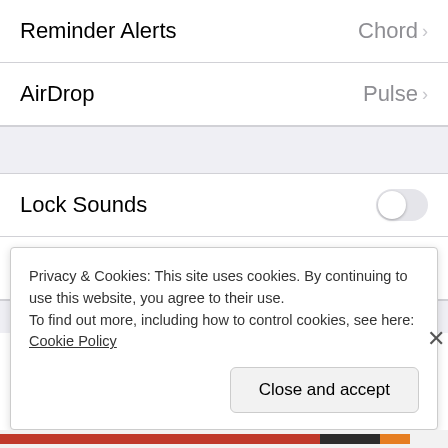Reminder Alerts — Chord
AirDrop — Pulse
Lock Sounds — toggle off
Keyboard Clicks — toggle off
Privacy & Cookies: This site uses cookies. By continuing to use this website, you agree to their use.
To find out more, including how to control cookies, see here: Cookie Policy
Close and accept